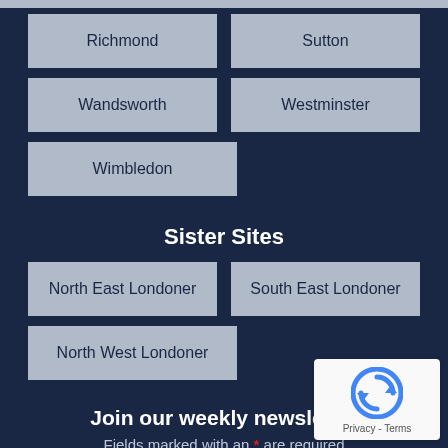Richmond
Sutton
Wandsworth
Westminster
Wimbledon
Sister Sites
North East Londoner
South East Londoner
North West Londoner
Join our weekly newsletter
Fields marked with an * are required
Would you like to get the best stories of the week delivered in your inbox? Enter your details below to receive weekly